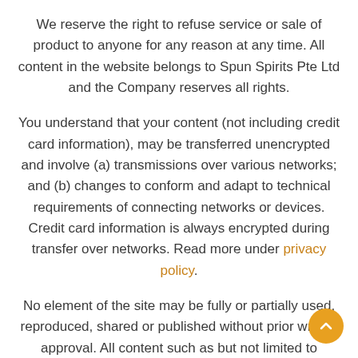We reserve the right to refuse service or sale of product to anyone for any reason at any time. All content in the website belongs to Spun Spirits Pte Ltd and the Company reserves all rights.
You understand that your content (not including credit card information), may be transferred unencrypted and involve (a) transmissions over various networks; and (b) changes to conform and adapt to technical requirements of connecting networks or devices. Credit card information is always encrypted during transfer over networks. Read more under privacy policy.
No element of the site may be fully or partially used, reproduced, shared or published without prior written approval. All content such as but not limited to trademarks, domain names, texts, tree diagrams, software, animations, images, photos, illustrations, packaging, diagrams, logos, sound and music clips remain the exclusive property of Spun Spirits. The use of all or any of the content, notably the downloading, reproduction, sharing, representation or distribution for